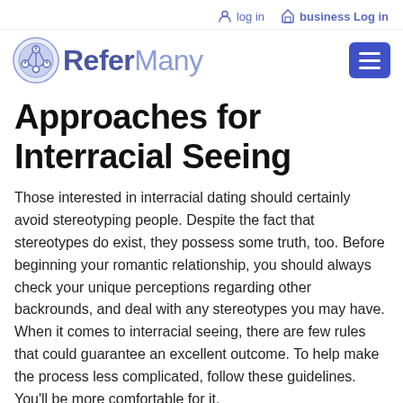log in   business Log in
[Figure (logo): ReferMany logo with circular network icon and text 'ReferMany' and hamburger menu button]
Approaches for Interracial Seeing
Those interested in interracial dating should certainly avoid stereotyping people. Despite the fact that stereotypes do exist, they possess some truth, too. Before beginning your romantic relationship, you should always check your unique perceptions regarding other backrounds, and deal with any stereotypes you may have. When it comes to interracial seeing, there are few rules that could guarantee an excellent outcome. To help make the process less complicated, follow these guidelines. You'll be more comfortable for it.